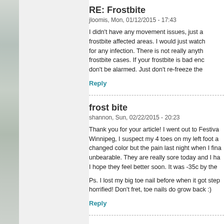RE: Frostbite
jloomis, Mon, 01/12/2015 - 17:43
I didn't have any movement issues, just a frostbite affected areas. I would just watch for any infection. There is not really anyth frostbite cases. If your frostbite is bad enc don't be alarmed. Just don't re-freeze the
Reply
frost bite
shannon, Sun, 02/22/2015 - 20:23
Thank you for your article! I went out to Festiva Winnipeg, I suspect my 4 toes on my left foot a changed color but the pain last night when I fina unbearable. They are really sore today and I ha I hope they feel better soon. It was -35c by the
Ps. I lost my big toe nail before when it got step horrified! Don't fret, toe nails do grow back :)
Reply